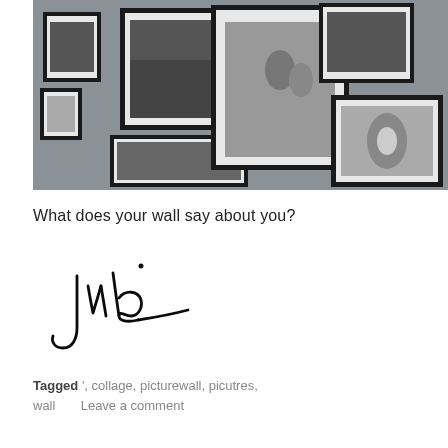[Figure (photo): Gallery wall with multiple black and white framed photographs arranged on a gray wall, including wedding photos and group portraits]
What does your wall say about you?
[Figure (illustration): Handwritten cursive signature reading 'Julie' or similar name in black ink]
Tagged ', collage, picturewall, picutres, wall      Leave a comment